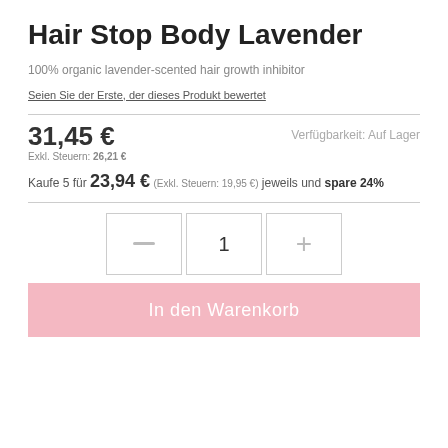Hair Stop Body Lavender
100% organic lavender-scented hair growth inhibitor
Seien Sie der Erste, der dieses Produkt bewertet
31,45 €
Exkl. Steuern: 26,21 €
Verfügbarkeit: Auf Lager
Kaufe 5 für 23,94 € (Exkl. Steuern: 19,95 €) jeweils und spare 24%
1
In den Warenkorb